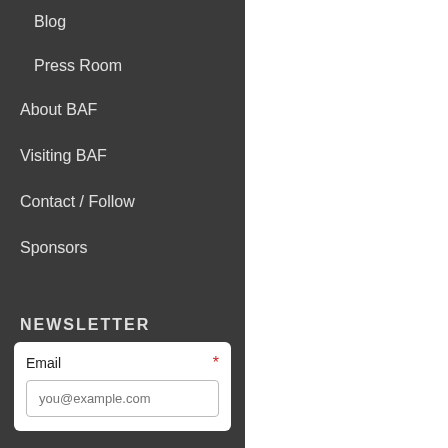Blog
Press Room
About BAF
Visiting BAF
Contact / Follow
Sponsors
NEWSLETTER
Email *
you@example.com
[Figure (other): Gray bordered box with lock icon graphic at top right of page]
[Figure (other): Small gray bordered square at bottom right of page]